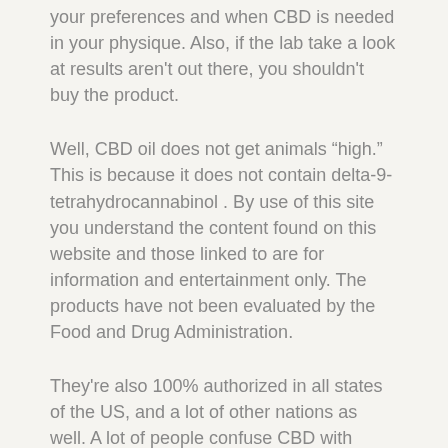your preferences and when CBD is needed in your physique. Also, if the lab take a look at results aren't out there, you shouldn't buy the product.
Well, CBD oil does not get animals "high." This is because it does not contain delta-9-tetrahydrocannabinol . By use of this site you understand the content found on this website and those linked to are for information and entertainment only. The products have not been evaluated by the Food and Drug Administration.
They're also 100% authorized in all states of the US, and a lot of other nations as well. A lot of people confuse CBD with THC, but the one similarity is that they each occur in hashish. By